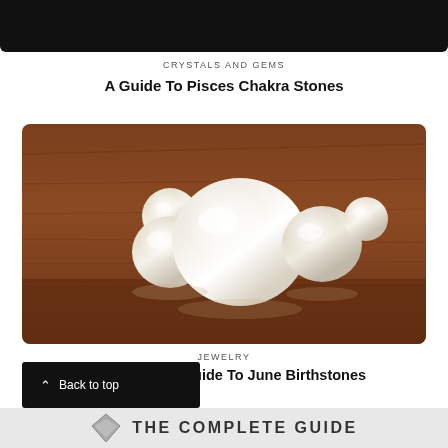[Figure (photo): Dark/black top image strip, partial photo from previous article]
CRYSTALS AND GEMS
A Guide To Pisces Chakra Stones
[Figure (photo): Photo of multiple pearls of different sizes arranged on a wooden surface, with a large white/cream pearl in the center and smaller pearls around it]
JEWELRY
The Complete Guide To June Birthstones
Back to top
[Figure (other): Bottom banner with diamond icon and text THE COMPLETE GUIDE]